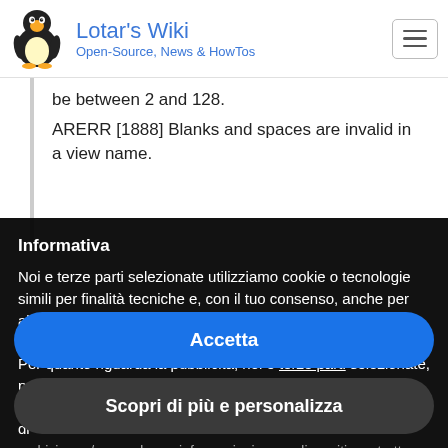Lotar's Wiki — Open-Source, News & HowTos
be between 2 and 128.
ARERR [1888] Blanks and spaces are invalid in a view name.
Informativa
Noi e terze parti selezionate utilizziamo cookie o tecnologie simili per finalità tecniche e, con il tuo consenso, anche per altre finalità come specificato nella cookie policy. Il rifiuto del consenso può rendere non disponibili le relative funzioni.
Per quanto riguarda la pubblicità, noi e terze parti selezionate, potremmo utilizzare dati di geolocalizzazione precisi e l'identificazione attraverso la scansione del dispositivo, al fine di archiviare e/o accedere a informazioni su un dispositivo e trattare
Accetta
Scopri di più e personalizza